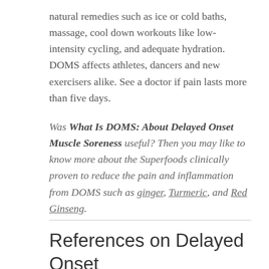natural remedies such as ice or cold baths, massage, cool down workouts like low-intensity cycling, and adequate hydration. DOMS affects athletes, dancers and new exercisers alike. See a doctor if pain lasts more than five days.
Was What Is DOMS: About Delayed Onset Muscle Soreness useful? Then you may like to know more about the Superfoods clinically proven to reduce the pain and inflammation from DOMS such as ginger, Turmeric, and Red Ginseng.
References on Delayed Onset Muscle Soreness